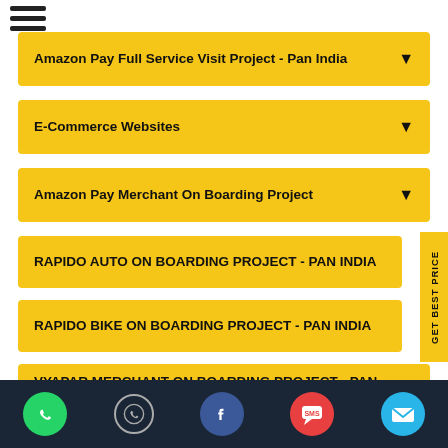[Figure (other): Hamburger menu icon (three horizontal lines)]
Amazon Pay Full Service Visit Project - Pan India
E-Commerce Websites
Amazon Pay Merchant On Boarding Project
RAPIDO AUTO ON BOARDING PROJECT - PAN INDIA
RAPIDO BIKE ON BOARDING PROJECT - PAN INDIA
VYAPAR MERCHANT ON BOARDING PROJECT - PAN INDIA
GET BEST PRICE
WhatsApp | Facebook | SMS | Email